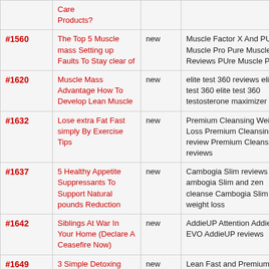| ID | Title | Status | Keywords |  |
| --- | --- | --- | --- | --- |
|  | Care Products? |  |  |  |
| #1560 | The Top 5 Muscle mass Setting up Faults To Stay clear of | new | Muscle Factor X And PUre Muscle Pro Pure Muscle Pro Reviews PUre Muscle Pro | s |
| #1620 | Muscle Mass Advantage How To Develop Lean Muscle | new | elite test 360 reviews elite test 360 elite test 360 testosterone maximizer | s |
| #1632 | Lose extra Fat Fast simply By Exercise Tips | new | Premium Cleansing Weight Loss Premium Cleansing review Premium Cleansing reviews | s |
| #1637 | 5 Healthy Appetite Suppressants To Support Natural pounds Reduction | new | Cambogia Slim reviews ambogia Slim and zen cleanse Cambogia Slim weight loss | s |
| #1642 | Siblings At War In Your Home (Declare A Ceasefire Now) | new | AddieUP Attention AddieUP EVO AddieUP reviews | s |
| #1649 | 3 Simple Detoxing you'll | new | Lean Fast and Premium Cleansing Premium Cleansing | s |